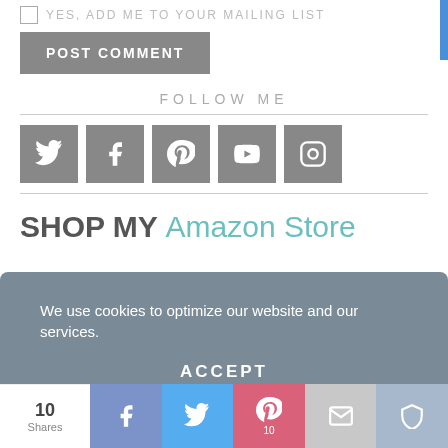[Figure (screenshot): Checkbox with text YES, ADD ME TO YOUR MAILING LIST]
[Figure (screenshot): POST COMMENT button in gray]
FOLLOW ME
[Figure (screenshot): Social media icons: Twitter, Facebook, Pinterest, YouTube, Instagram]
SHOP MY Amazon Store
We use cookies to optimize our website and our services.
[Figure (screenshot): ACCEPT button on cookie banner]
[Figure (screenshot): Share bar with 10 Shares, Facebook, Twitter, Pinterest (10), Email, More buttons]